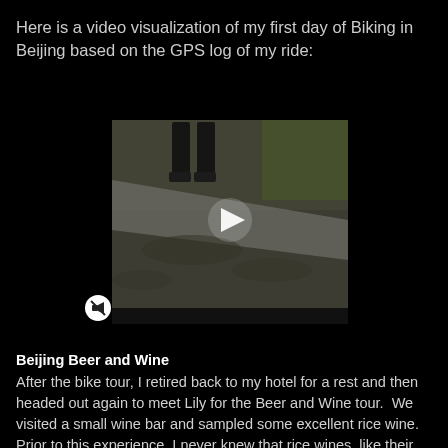Here is a video visualization of my first day of Biking in Beijing based on the GPS log of my ride:
[Figure (screenshot): Video player showing a street scene in Beijing. A person is visible at the top of the frame walking on a path with dappled sunlight and shadows. A white play button triangle is overlaid in the center of the video. A mute/speaker button icon appears to the lower left of the video player.]
Beijing Beer and Wine
After the bike tour, I retired back to my hotel for a rest and then headed out again to meet Lily for the Beer and Wine tour.  We visited a small wine bar and sampled some excellent rice wine.  Prior to this experience, I never knew that rice wines, like their cousins made from grapes, have